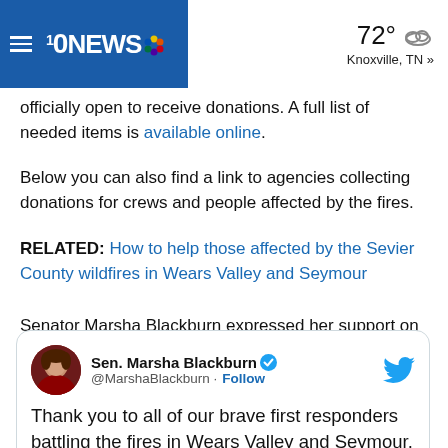10NEWS — 72° Knoxville, TN »
officially open to receive donations. A full list of needed items is available online.
Below you can also find a link to agencies collecting donations for crews and people affected by the fires.
RELATED: How to help those affected by the Sevier County wildfires in Wears Valley and Seymour
Senator Marsha Blackburn expressed her support on Twitter and said that her office is on standby to provide any assistance.
[Figure (screenshot): Embedded tweet from Sen. Marsha Blackburn (@MarshaBlackburn) with Follow button and Twitter bird logo. Tweet text: Thank you to all of our brave first responders battling the fires in Wears Valley and Seymour. I spoke with]